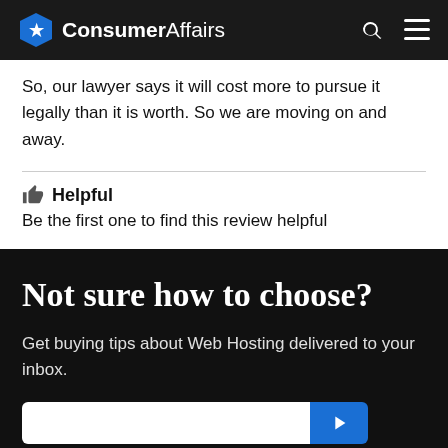ConsumerAffairs
So, our lawyer says it will cost more to pursue it legally than it is worth. So we are moving on and away.
👍 Helpful
Be the first one to find this review helpful
Not sure how to choose?
Get buying tips about Web Hosting delivered to your inbox.